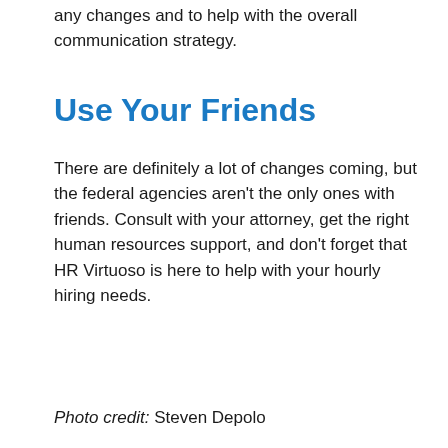any changes and to help with the overall communication strategy.
Use Your Friends
There are definitely a lot of changes coming, but the federal agencies aren't the only ones with friends. Consult with your attorney, get the right human resources support, and don't forget that HR Virtuoso is here to help with your hourly hiring needs.
Photo credit:  Steven Depolo